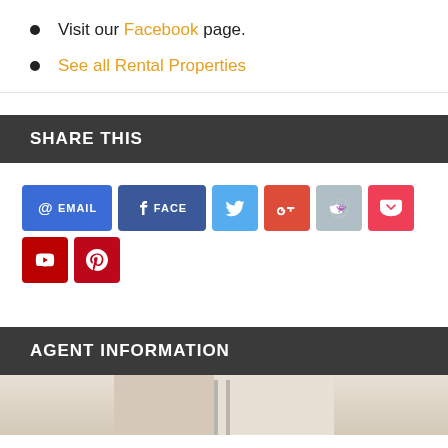Visit our Facebook page.
See all Rental Properties
SHARE THIS
[Figure (infographic): Row of social share buttons: EMAIL, FACE(book), Twitter, Google+, Reddit, Pocket, YouTube, Pinterest]
AGENT INFORMATION
[Figure (photo): Partial agent photo, cropped at bottom of page]